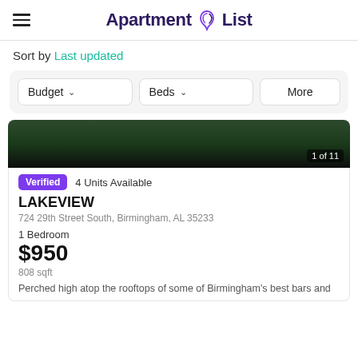Apartment List
Sort by Last updated
Budget   Beds   More
[Figure (photo): Dark outdoor photo showing trees and a pathway at night, with overlay text '1 of 11']
Verified   4 Units Available
LAKEVIEW
724 29th Street South, Birmingham, AL 35233
1 Bedroom
$950
808 sqft
Perched high atop the rooftops of some of Birmingham's best bars and